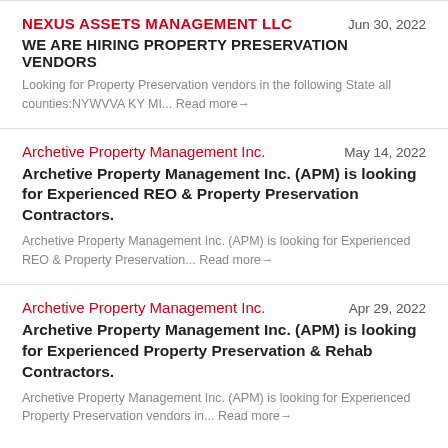NEXUS ASSETS MANAGEMENT LLC — Jun 30, 2022
WE ARE HIRING PROPERTY PRESERVATION VENDORS
Looking for Property Preservation vendors in the following State all counties:NYWVVA KY MI... Read more→
Archetive Property Management Inc. — May 14, 2022
Archetive Property Management Inc. (APM) is looking for Experienced REO & Property Preservation Contractors.
Archetive Property Management Inc. (APM) is looking for Experienced REO & Property Preservation... Read more→
Archetive Property Management Inc. — Apr 29, 2022
Archetive Property Management Inc. (APM) is looking for Experienced Property Preservation & Rehab Contractors.
Archetive Property Management Inc. (APM) is looking for Experienced Property Preservation vendors in... Read more→